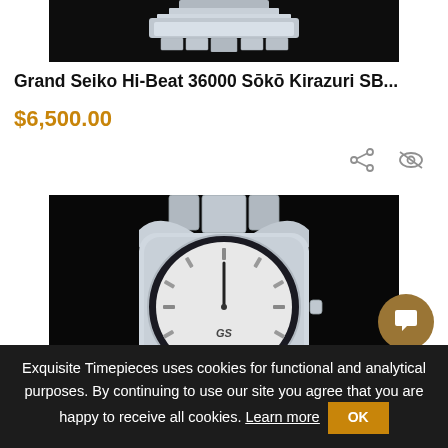[Figure (photo): Top partial view of a Grand Seiko watch bracelet/clasp against dark background, cropped at top of page]
Grand Seiko Hi-Beat 36000 Sōkō Kirazuri SB...
$6,500.00
[Figure (photo): Close-up photo of a Grand Seiko watch showing the top portion of the dial and bracelet against a black background. The watch has a silver/white textured dial with 'GS Grand Seiko' text visible.]
Exquisite Timepieces uses cookies for functional and analytical purposes. By continuing to use our site you agree that you are happy to receive all cookies. Learn more  OK